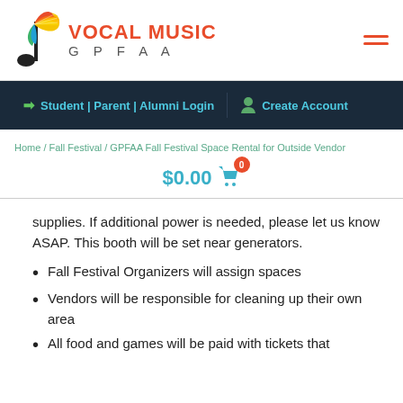[Figure (logo): Vocal Music GPFAA logo with colorful feather and musical note]
Student | Parent | Alumni Login   Create Account
Home / Fall Festival / GPFAA Fall Festival Space Rental for Outside Vendor
$0.00  0
supplies. If additional power is needed, please let us know ASAP. This booth will be set near generators.
Fall Festival Organizers will assign spaces
Vendors will be responsible for cleaning up their own area
All food and games will be paid with tickets that